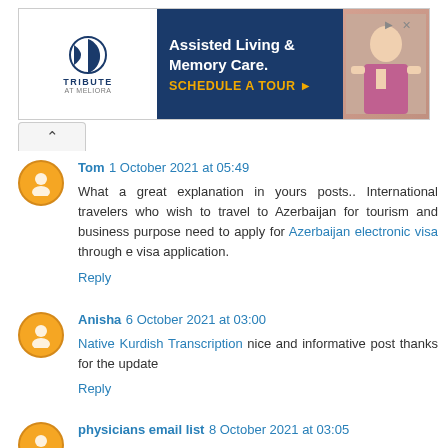[Figure (advertisement): Tribute at Meliora assisted living and memory care ad with schedule a tour CTA]
Tom 1 October 2021 at 05:49
What a great explanation in yours posts.. International travelers who wish to travel to Azerbaijan for tourism and business purpose need to apply for Azerbaijan electronic visa through e visa application.
Reply
Anisha 6 October 2021 at 03:00
Native Kurdish Transcription nice and informative post thanks for the update
Reply
physicians email list 8 October 2021 at 03:05